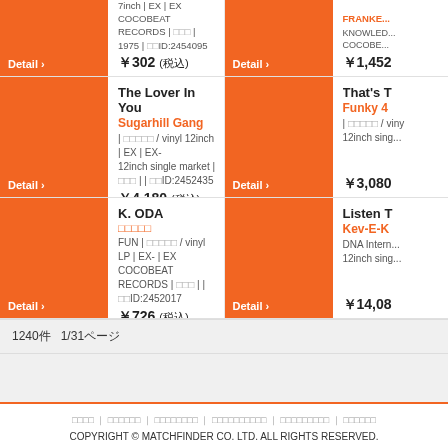PHILIPS | vinyl 7inch | EX | EX COCOBEAT RECORDS | 1975 | ID:2454095 ¥302 (税込)
The Lover In You - Sugarhill Gang | vinyl 12inch | EX | EX- 12inch single market | | ID:2452435 ¥4,180 (税込)
That's T... - Funky 4... | vinyl 12inch ... 12inch single ... ¥3,080
K. ODA - FUN | vinyl LP | EX- | EX COCOBEAT RECORDS | | ID:2452017 ¥726 (税込)
Listen T... - Kev-E-K... DNA International 12inch single... ¥14,08...
1240件　1/31ページ
COPYRIGHT © MATCHFINDER CO. LTD. ALL RIGHTS RESERVED.